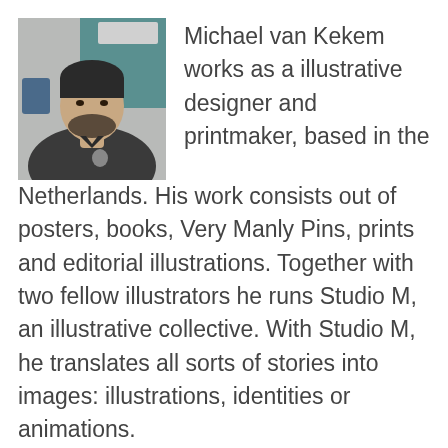[Figure (photo): Headshot photo of Michael van Kekem, a man with a beard wearing a dark polo shirt, seated indoors]
Michael van Kekem works as a illustrative designer and printmaker, based in the Netherlands. His work consists out of posters, books, Very Manly Pins, prints and editorial illustrations. Together with two fellow illustrators he runs Studio M, an illustrative collective. With Studio M, he translates all sorts of stories into images: illustrations, identities or animations. www.michaelvankekem.com